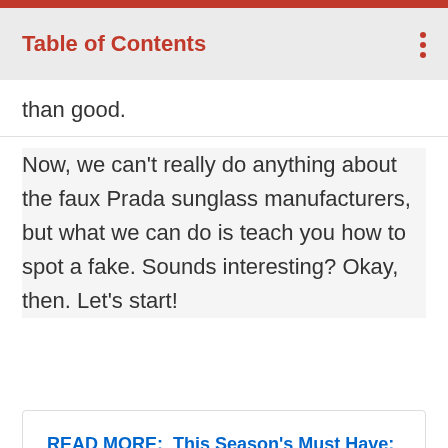Table of Contents
than good.
Now, we can't really do anything about the faux Prada sunglass manufacturers, but what we can do is teach you how to spot a fake. Sounds interesting? Okay, then. Let's start!
READ MORE:  This Season's Must Have: Gold Prada Loafers